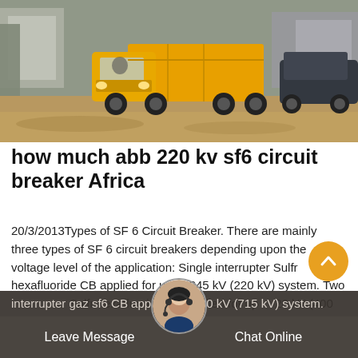[Figure (photo): Outdoor scene showing a yellow dump truck in a dirt yard area with buildings and a dark SUV visible in the background]
how much abb 220 kv sf6 circuit breaker Africa
20/3/2013Types of SF 6 Circuit Breaker. There are mainly three types of SF 6 circuit breakers depending upon the voltage level of the application: Single interrupter Sulfr hexafluoride CB applied for up to 245 kV (220 kV) system. Two interrupter Sulfr hexafluoride CB applied for up to 420 kV (400 kV) system. Four interrupter gaz sf6 CB applied to 800 kV (715 kV) system.
Leave Message   Chat Online